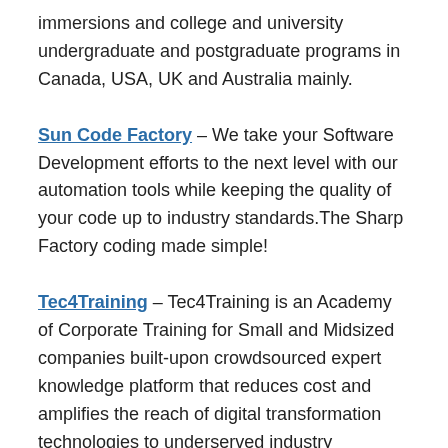immersions and college and university undergraduate and postgraduate programs in Canada, USA, UK and Australia mainly.
Sun Code Factory – We take your Software Development efforts to the next level with our automation tools while keeping the quality of your code up to industry standards.The Sharp Factory coding made simple!
Tec4Training – Tec4Training is an Academy of Corporate Training for Small and Midsized companies built-upon crowdsourced expert knowledge platform that reduces cost and amplifies the reach of digital transformation technologies to underserved industry segments
Zequenze – Helping Telecom Service Providers to better...